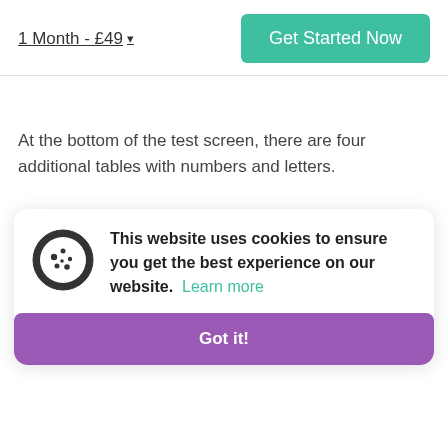1 Month - £49 ▾
Get Started Now
At the bottom of the test screen, there are four additional tables with numbers and letters.
This website uses cookies to ensure you get the best experience on our website. Learn more
Got it!